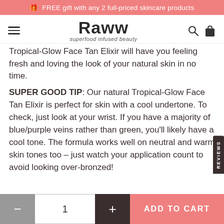🎁 FREE gift with any 2 full-priced skincare products
[Figure (logo): Raww superfood infused beauty logo with hamburger menu, search icon, and bag icon]
Tropical-Glow Face Tan Elixir will have you feeling fresh and loving the look of your natural skin in no time.
SUPER GOOD TIP: Our natural Tropical-Glow Face Tan Elixir is perfect for skin with a cool undertone. To check, just look at your wrist. If you have a majority of blue/purple veins rather than green, you'll likely have a cool tone. The formula works well on neutral and warm skin tones too – just watch your application count to avoid looking over-bronzed!